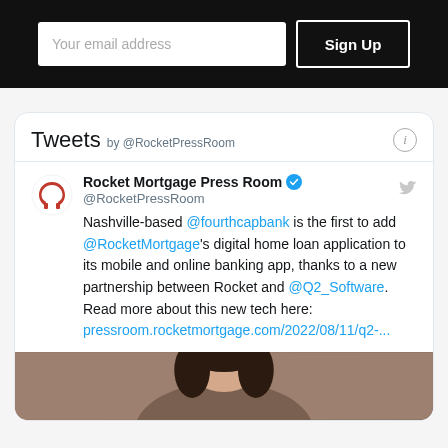[Figure (screenshot): Black email signup banner with 'Your email address' input field and 'Sign Up' button]
Tweets by @RocketPressRoom
Rocket Mortgage Press Room @RocketPressRoom Nashville-based @fourthcapbank is the first to add @RocketMortgage's digital home loan application to its mobile and online banking app, thanks to a new partnership between Rocket and @Q2_Software. Read more about this new tech here: pressroom.rocketmortgage.com/2022/08/11/q2-...
[Figure (photo): Partial photo of a woman at the bottom of the tweet card]